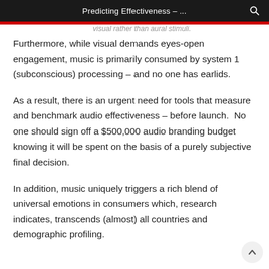Predicting Effectiveness – ...
visual rather than aural stimuli.
Furthermore, while visual demands eyes-open engagement, music is primarily consumed by system 1 (subconscious) processing – and no one has earlids.
As a result, there is an urgent need for tools that measure and benchmark audio effectiveness – before launch. No one should sign off a $500,000 audio branding budget knowing it will be spent on the basis of a purely subjective final decision.
In addition, music uniquely triggers a rich blend of universal emotions in consumers which, research indicates, transcends (almost) all countries and demographic profiling.